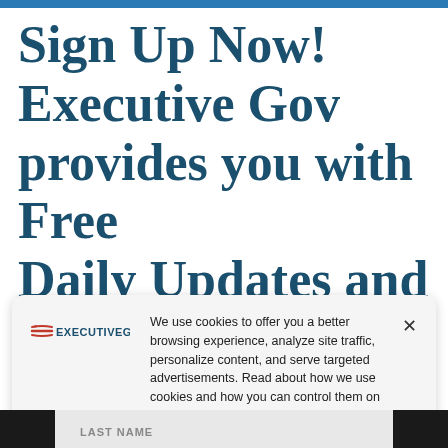Sign Up Now! Executive Gov provides you with Free Daily Updates and News Briefings about
[Figure (logo): ExecutiveGov logo with American flag wave lines and bold text EXECUTIVEGOV]
We use cookies to offer you a better browsing experience, analyze site traffic, personalize content, and serve targeted advertisements. Read about how we use cookies and how you can control them on our Privacy Policy. If you continue to use this site, you consent to our use of cookies.
LAST NAME